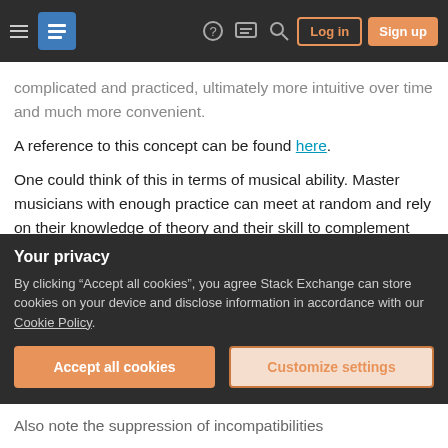Stack Exchange navigation bar with hamburger menu, logo, help, chat, search icons, Log in and Sign up buttons
complicated and practiced, ultimately more intuitive over time and much more convenient.
A reference to this concept can be found here.
One could think of this in terms of musical ability. Master musicians with enough practice can meet at random and rely on their knowledge of theory and their skill to complement one another, in a way sticking to basic principles and in a way taking each others cues to perform a piece successfully. Similarly a group of new musicians can practice
Your privacy
By clicking “Accept all cookies”, you agree Stack Exchange can store cookies on your device and disclose information in accordance with our Cookie Policy.
Accept all cookies
Customize settings
Also note the suppression of incompatibilities